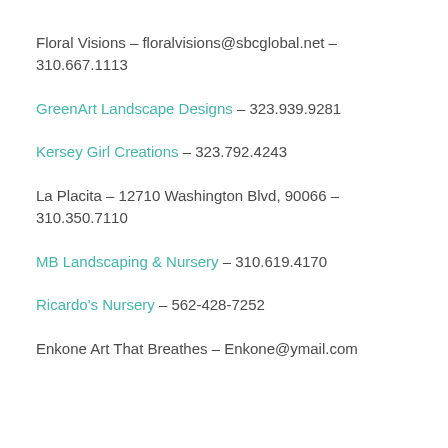Floral Visions – floralvisions@sbcglobal.net – 310.667.1113
GreenArt Landscape Designs – 323.939.9281
Kersey Girl Creations – 323.792.4243
La Placita – 12710 Washington Blvd, 90066 – 310.350.7110
MB Landscaping & Nursery – 310.619.4170
Ricardo's Nursery – 562-428-7252
Enkone Art That Breathes – Enkone@ymail.com